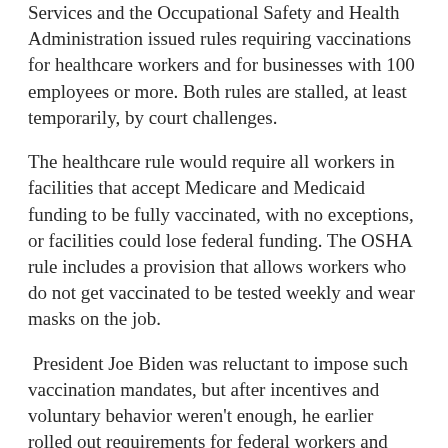Services and the Occupational Safety and Health Administration issued rules requiring vaccinations for healthcare workers and for businesses with 100 employees or more. Both rules are stalled, at least temporarily, by court challenges.
The healthcare rule would require all workers in facilities that accept Medicare and Medicaid funding to be fully vaccinated, with no exceptions, or facilities could lose federal funding. The OSHA rule includes a provision that allows workers who do not get vaccinated to be tested weekly and wear masks on the job.
President Joe Biden was reluctant to impose such vaccination mandates, but after incentives and voluntary behavior weren't enough, he earlier rolled out requirements for federal workers and employees of federal contractors to be vaccinated.
The mandate for contractors, which included limited exceptions for medical and religious reasons, was